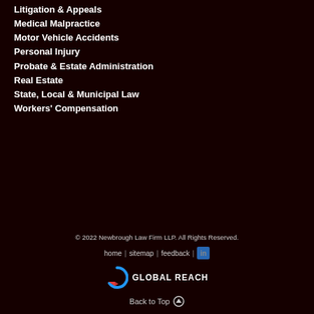Litigation & Appeals
Medical Malpractice
Motor Vehicle Accidents
Personal Injury
Probate & Estate Administration
Real Estate
State, Local & Municipal Law
Workers' Compensation
© 2022 Newbrough Law Firm LLP. All Rights Reserved.
home | sitemap | feedback | in
[Figure (logo): Global Reach logo with circular G icon and text GLOBAL REACH]
Back to Top